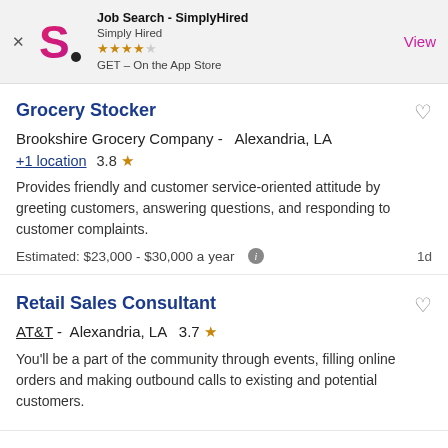[Figure (screenshot): App store banner for Job Search - SimplyHired app with logo, star rating, and View button]
Grocery Stocker
Brookshire Grocery Company -  Alexandria, LA
+1 location  3.8 ★
Provides friendly and customer service-oriented attitude by greeting customers, answering questions, and responding to customer complaints.
Estimated: $23,000 - $30,000 a year   1d
Retail Sales Consultant
AT&T -  Alexandria, LA   3.7 ★
You'll be a part of the community through events, filling online orders and making outbound calls to existing and potential customers.